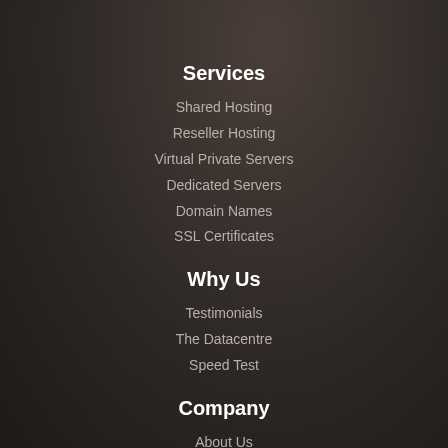Services
Shared Hosting
Reseller Hosting
Virtual Private Servers
Dedicated Servers
Domain Names
SSL Certificates
Why Us
Testimonials
The Datacentre
Speed Test
Company
About Us
Terms of Service
Privacy Policy
Contact Us
Copyright © IoxHost 2009-2022
[Figure (other): Social media icons: Google+, LinkedIn, Facebook, Twitter]